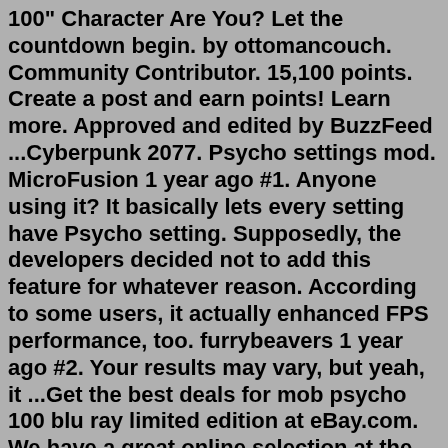100" Character Are You? Let the countdown begin. by ottomancouch. Community Contributor. 15,100 points. Create a post and earn points! Learn more. Approved and edited by BuzzFeed ...Cyberpunk 2077. Psycho settings mod. MicroFusion 1 year ago #1. Anyone using it? It basically lets every setting have Psycho setting. Supposedly, the developers decided not to add this feature for whatever reason. According to some users, it actually enhanced FPS performance, too. furrybeavers 1 year ago #2. Your results may vary, but yeah, it ...Get the best deals for mob psycho 100 blu ray limited edition at eBay.com. We have a great online selection at the lowest prices with Fast & Free shipping on many items!Oct 23, 2021 · American Psycho Mod American Psycho Mod for People Playground +3 . 17.07.2022 13:33. 327 . TOP-Mods. Description Screenshots. This mod adds two variants of patrick ... 6. MPD Psycho, short for Multiple Personality Detective Psycho ( Japanese: 多重人格漢探サイコ, Hepburn: Tajū-Jinkaku Tantei Saiko), is a manga series written by Eiji Ōtsuka, and illustrated by Sho...